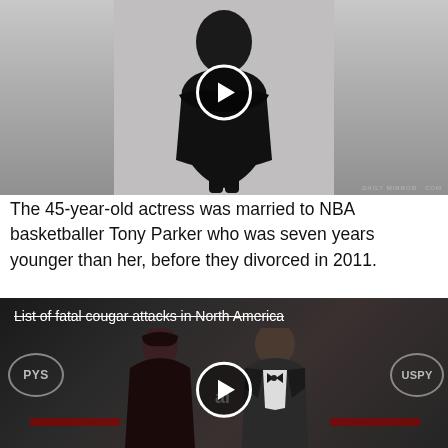[Figure (photo): A person dressed in black with arms crossed against a light gray background, with a circular video play button overlay in the center]
The 45-year-old actress was married to NBA basketballer Tony Parker who was seven years younger than her, before they divorced in 2011.
[Figure (photo): Two people posing at what appears to be the ESPYs award ceremony. A woman in a black sequined dress and a man in a tuxedo with bow tie stand in front of ESPY logos. A video play button overlay is in the center. An overlay label reads 'List of fatal cougar attacks in North America' with strikethrough text.]